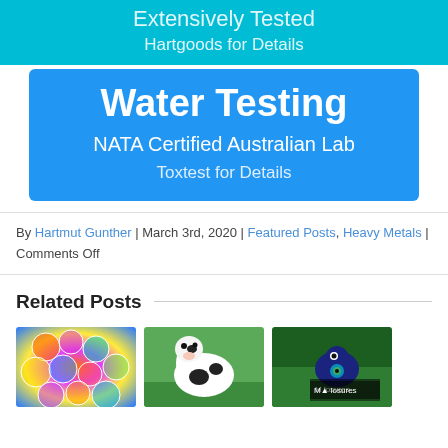[Figure (illustration): Teal banner with text 'Extensively Tested' and 'Hartgoods for Details']
[Figure (infographic): Blue rounded box with 'Water Testing', 'NATA Certified Australian Lab', 'Toxtest for Details']
By Hartmut Gunther | March 3rd, 2020 | Featured Posts, Heavy Metals | Comments Off
Related Posts
[Figure (photo): Colorful abstract circular bubble pattern photo thumbnail]
[Figure (photo): Black and white cow/calf photo thumbnail on green grass]
[Figure (photo): Bird/peacock photo thumbnail on green background with overlay label 'M...losures']